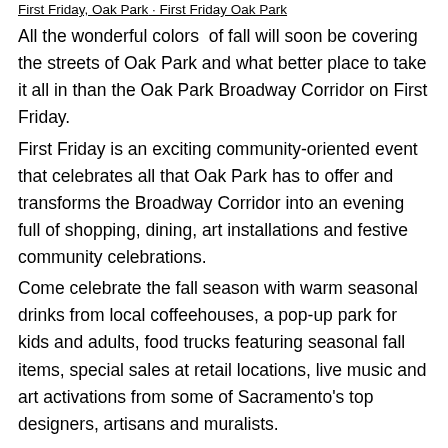First Friday Oak Park · First Friday Oak Park
All the wonderful colors of fall will soon be covering the streets of Oak Park and what better place to take it all in than the Oak Park Broadway Corridor on First Friday.
First Friday is an exciting community-oriented event that celebrates all that Oak Park has to offer and transforms the Broadway Corridor into an evening full of shopping, dining, art installations and festive community celebrations.
Come celebrate the fall season with warm seasonal drinks from local coffeehouses, a pop-up park for kids and adults, food trucks featuring seasonal fall items, special sales at retail locations, live music and art activations from some of Sacramento's top designers, artisans and muralists.
First Friday in Oak Park spans the Broadway